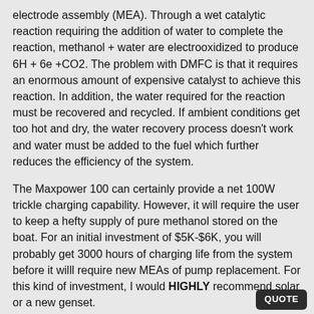electrode assembly (MEA). Through a wet catalytic reaction requiring the addition of water to complete the reaction, methanol + water are electrooxidized to produce 6H + 6e +CO2. The problem with DMFC is that it requires an enormous amount of expensive catalyst to achieve this reaction. In addition, the water required for the reaction must be recovered and recycled. If ambient conditions get too hot and dry, the water recovery process doesn't work and water must be added to the fuel which further reduces the efficiency of the system.
The Maxpower 100 can certainly provide a net 100W trickle charging capability. However, it will require the user to keep a hefty supply of pure methanol stored on the boat. For an initial investment of $5K-$6K, you will probably get 3000 hours of charging life from the system before it willl require new MEAs of pump replacement. For this kind of investment, I would HIGHLY recommend solar or a new genset.
This is why we haven't even considered the consumer market. The military market can justify $5K for 3000 hours of run time. I don't believe many of us boaters would be real happy with such performance.